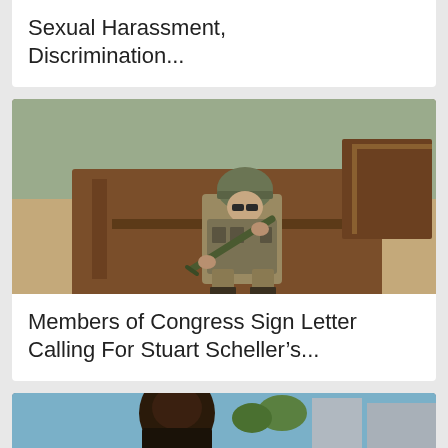Sexual Harassment, Discrimination...
[Figure (photo): A soldier in military camouflage gear and helmet sitting in the bed of a wrecked/burned out truck in a sandy environment, holding a rifle and smiling.]
Members of Congress Sign Letter Calling For Stuart Scheller’s...
[Figure (photo): Partial view of a person outdoors, urban background with buildings and trees visible.]